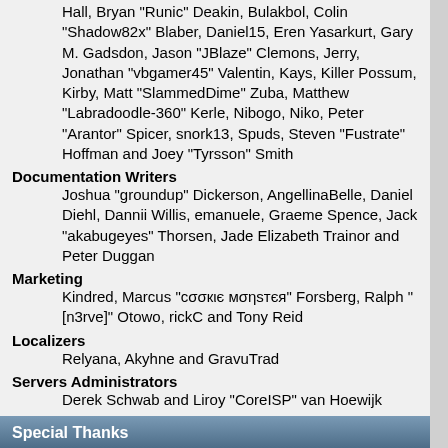Hall, Bryan "Runic" Deakin, Bulakbol, Colin "Shadow82x" Blaber, Daniel15, Eren Yasarkurt, Gary M. Gadsdon, Jason "JBlaze" Clemons, Jerry, Jonathan "vbgamer45" Valentin, Kays, Killer Possum, Kirby, Matt "SlammedDime" Zuba, Matthew "Labradoodle-360" Kerle, Nibogo, Niko, Peter "Arantor" Spicer, snork13, Spuds, Steven "Fustrate" Hoffman and Joey "Tyrsson" Smith
Documentation Writers
Joshua "groundup" Dickerson, AngellinaBelle, Daniel Diehl, Dannii Willis, emanuele, Graeme Spence, Jack "akabugeyes" Thorsen, Jade Elizabeth Trainor and Peter Duggan
Marketing
Kindred, Marcus "cσσкιє мσηѕтєя" Forsberg, Ralph "[n3rve]" Otowo, rickC and Tony Reid
Localizers
Relyana, Akyhne and GravuTrad
Servers Administrators
Derek Schwab and Liroy "CoreISP" van Hoewijk
Special Thanks
Consulting Developers
Brett Flannigan, Mark Rose and René-Gilles "Nao 鯖" Deberdt
Beta Testers
The invaluable few who tirelessly find bugs, provide feedback, and drive the developers crazier.
Language Translators
Thank you for your efforts which make it